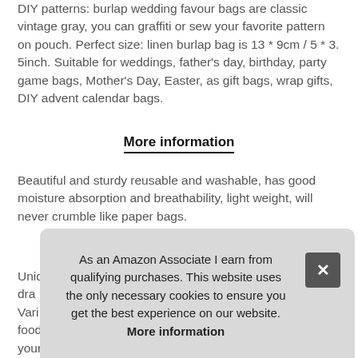DIY patterns: burlap wedding favour bags are classic vintage gray, you can graffiti or sew your favorite pattern on pouch. Perfect size: linen burlap bag is 13 * 9cm / 5 * 3. 5inch. Suitable for weddings, father's day, birthday, party game bags, Mother's Day, Easter, as gift bags, wrap gifts, DIY advent calendar bags.
More information
Beautiful and sturdy reusable and washable, has good moisture absorption and breathability, light weight, will never crumble like paper bags.
Unique design: burlap sacks small are designed with a draw... Vari... food... your... cos...
As an Amazon Associate I earn from qualifying purchases. This website uses the only necessary cookies to ensure you get the best experience on our website. More information